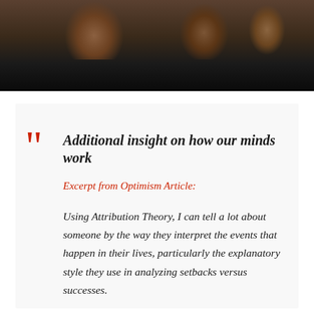[Figure (photo): Cropped photo of people, partially visible, dark background at bottom]
Additional insight on how our minds work
Excerpt from Optimism Article:
Using Attribution Theory, I can tell a lot about someone by the way they interpret the events that happen in their lives, particularly the explanatory style they use in analyzing setbacks versus successes.